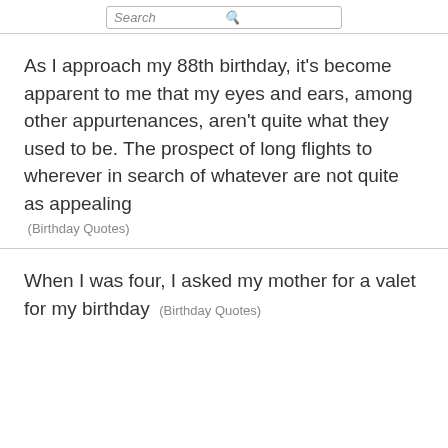Search
As I approach my 88th birthday, it's become apparent to me that my eyes and ears, among other appurtenances, aren't quite what they used to be. The prospect of long flights to wherever in search of whatever are not quite as appealing
(Birthday Quotes)
When I was four, I asked my mother for a valet for my birthday
(Birthday Quotes)